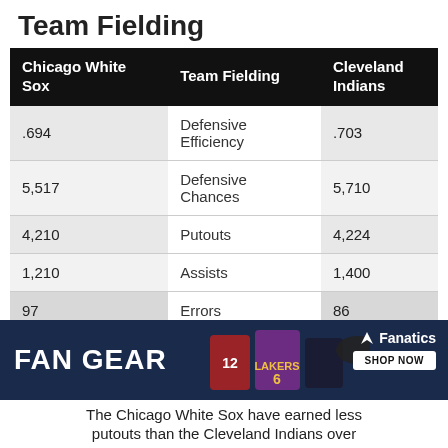Team Fielding
| Chicago White Sox | Team Fielding | Cleveland Indians |
| --- | --- | --- |
| .694 | Defensive Efficiency | .703 |
| 5,517 | Defensive Chances | 5,710 |
| 4,210 | Putouts | 4,224 |
| 1,210 | Assists | 1,400 |
| 97 | Errors | 86 |
| 112 | Double Plays | 138 |
| .983 | Fielding | .985 |
[Figure (photo): FAN GEAR advertisement banner with sports jerseys and Fanatics logo with Shop Now button]
The Chicago White Sox have earned less putouts than the Cleveland Indians over...